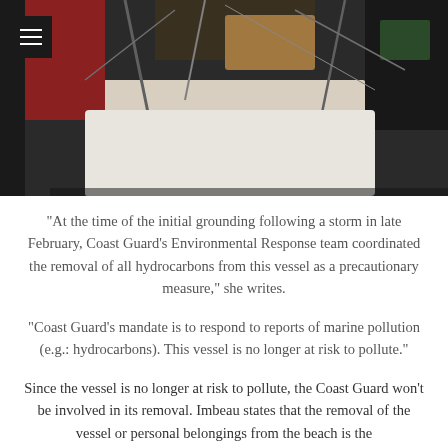[Figure (photo): Photo of a grounded vessel showing equipment and debris on deck, viewed from above]
"At the time of the initial grounding following a storm in late February, Coast Guard's Environmental Response team coordinated the removal of all hydrocarbons from this vessel as a precautionary measure," she writes.
"Coast Guard's mandate is to respond to reports of marine pollution (e.g.: hydrocarbons). This vessel is no longer at risk to pollute."
Since the vessel is no longer at risk to pollute, the Coast Guard won't be involved in its removal. Imbeau states that the removal of the vessel or personal belongings from the beach is the